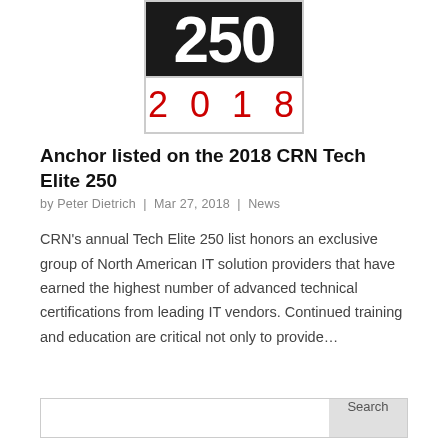[Figure (logo): CRN Tech Elite 250 2018 badge logo with '250' in white text on black background and '2018' in red text on white background below]
Anchor listed on the 2018 CRN Tech Elite 250
by Peter Dietrich | Mar 27, 2018 | News
CRN's annual Tech Elite 250 list honors an exclusive group of North American IT solution providers that have earned the highest number of advanced technical certifications from leading IT vendors. Continued training and education are critical not only to provide…